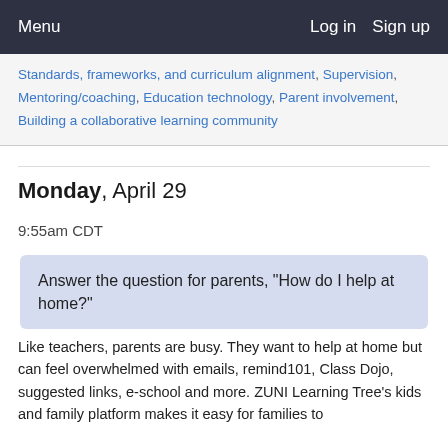Menu   Log in   Sign up
Standards, frameworks, and curriculum alignment, Supervision, Mentoring/coaching, Education technology, Parent involvement, Building a collaborative learning community
Monday, April 29
9:55am CDT
Answer the question for parents, "How do I help at home?"
Like teachers, parents are busy. They want to help at home but can feel overwhelmed with emails, remind101, Class Dojo, suggested links, e-school and more. ZUNI Learning Tree's kids and family platform makes it easy for families to